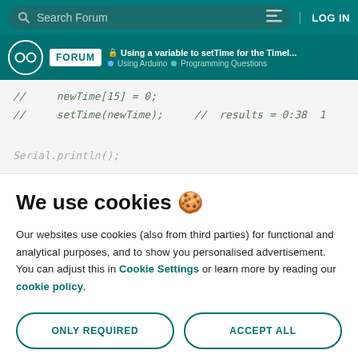Search Forum   LOG IN
FORUM · Using a variable to setTime for the Timel... · Using Arduino · Programming Questions
[Figure (screenshot): Code snippet showing commented-out lines: // newTime[15] = 0; and // setTime(newTime); // results = 0:38 1, partially visible Serial.println();]
We use cookies 🍪
Our websites use cookies (also from third parties) for functional and analytical purposes, and to show you personalised advertisement. You can adjust this in Cookie Settings or learn more by reading our cookie policy.
ONLY REQUIRED
ACCEPT ALL